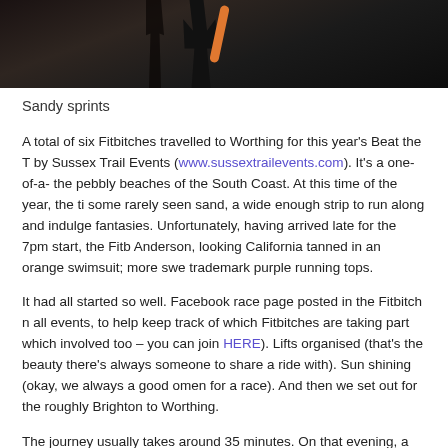[Figure (photo): Dark photograph showing a runner silhouette against a dark background, with an orange/pink arm visible]
Sandy sprints
A total of six Fitbitches travelled to Worthing for this year's Beat the T by Sussex Trail Events (www.sussextrailevents.com). It's a one-of-a- the pebbly beaches of the South Coast. At this time of the year, the ti some rarely seen sand, a wide enough strip to run along and indulge fantasies. Unfortunately, having arrived late for the 7pm start, the Fitb Anderson, looking California tanned in an orange swimsuit; more swe trademark purple running tops.
It had all started so well. Facebook race page posted in the Fitbitch n all events, to help keep track of which Fitbitches are taking part which involved too – you can join HERE). Lifts organised (that's the beauty there's always someone to share a ride with). Sun shining (okay, we always a good omen for a race). And then we set out for the roughly Brighton to Worthing.
The journey usually takes around 35 minutes. On that evening, a con